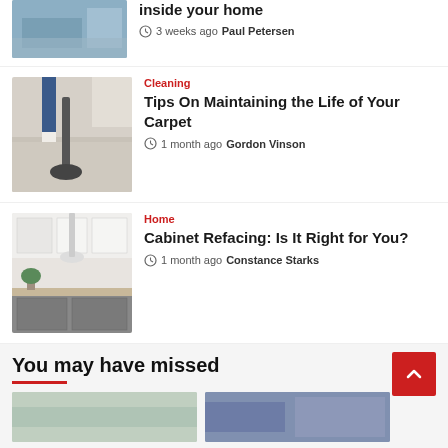[Figure (photo): Partial view of a living room with grey sofa and bright window]
inside your home
3 weeks ago  Paul Petersen
[Figure (photo): Vacuum cleaner on carpet, person's legs visible]
Cleaning
Tips On Maintaining the Life of Your Carpet
1 month ago  Gordon Vinson
[Figure (photo): Modern kitchen with grey and white cabinets, pendant light]
Home
Cabinet Refacing: Is It Right for You?
1 month ago  Constance Starks
You may have missed
[Figure (photo): Partial thumbnail image 1 at bottom]
[Figure (photo): Partial thumbnail image 2 at bottom]